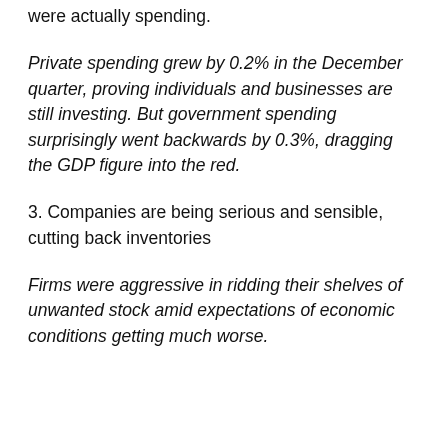were actually spending.
Private spending grew by 0.2% in the December quarter, proving individuals and businesses are still investing. But government spending surprisingly went backwards by 0.3%, dragging the GDP figure into the red.
3. Companies are being serious and sensible, cutting back inventories
Firms were aggressive in ridding their shelves of unwanted stock amid expectations of economic conditions getting much worse.